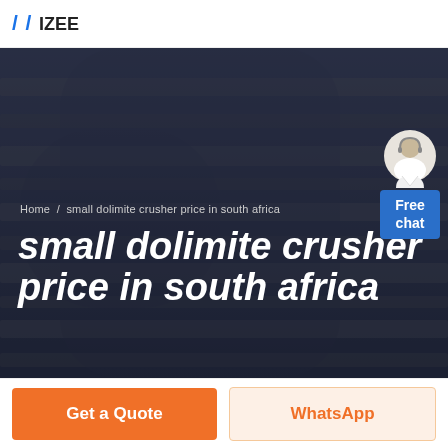IZEE (logo)
[Figure (photo): Dark hero banner showing stripes/industrial background image with dark overlay. Contains breadcrumb navigation and large heading text.]
Home / small dolimite crusher price in south africa
small dolimite crusher price in south africa
[Figure (illustration): Chat widget showing a customer service representative avatar above a blue 'Free chat' button]
Get a Quote
WhatsApp